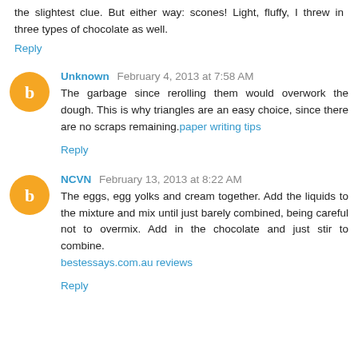the slightest clue. But either way: scones! Light, fluffy, I threw in three types of chocolate as well.
Reply
Unknown February 4, 2013 at 7:58 AM
The garbage since rerolling them would overwork the dough. This is why triangles are an easy choice, since there are no scraps remaining. paper writing tips
Reply
NCVN February 13, 2013 at 8:22 AM
The eggs, egg yolks and cream together. Add the liquids to the mixture and mix until just barely combined, being careful not to overmix. Add in the chocolate and just stir to combine. bestessays.com.au reviews
Reply